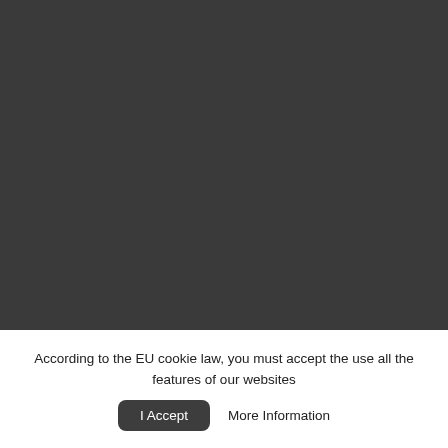[Figure (screenshot): Dark gray background area covering the upper portion of the page, representing a dimmed website background.]
According to the EU cookie law, you must accept the use all the features of our websites
I Accept
More Information